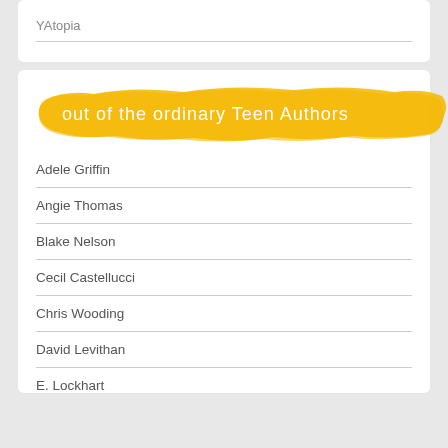YAtopia
[Figure (illustration): Golden yellow brushstroke banner with white handwritten text reading 'out of the ordinary Teen Authors']
Adele Griffin
Angie Thomas
Blake Nelson
Cecil Castellucci
Chris Wooding
David Levithan
E. Lockhart